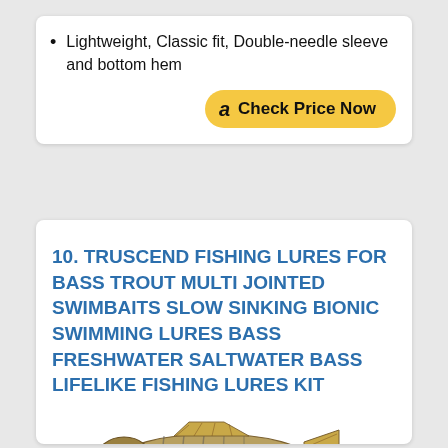Lightweight, Classic fit, Double-needle sleeve and bottom hem
Check Price Now
10. TRUSCEND FISHING LURES FOR BASS TROUT MULTI JOINTED SWIMBAITS SLOW SINKING BIONIC SWIMMING LURES BASS FRESHWATER SALTWATER BASS LIFELIKE FISHING LURES KIT
[Figure (photo): Two multi-jointed swimbaits fishing lures stacked on top of each other, realistic fish pattern with fins and hooks]